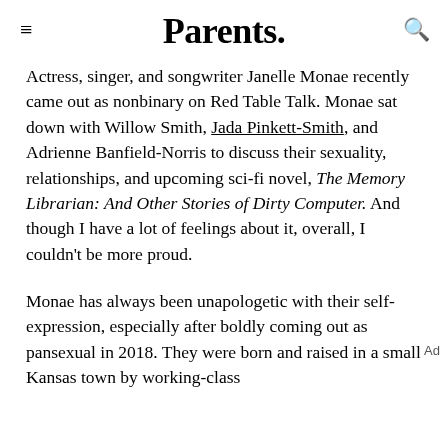Parents.
Actress, singer, and songwriter Janelle Monae recently came out as nonbinary on Red Table Talk. Monae sat down with Willow Smith, Jada Pinkett-Smith, and Adrienne Banfield-Norris to discuss their sexuality, relationships, and upcoming sci-fi novel, The Memory Librarian: And Other Stories of Dirty Computer. And though I have a lot of feelings about it, overall, I couldn't be more proud.
Monae has always been unapologetic with their self-expression, especially after boldly coming out as pansexual in 2018. They were born and raised in a small Kansas town by working-class